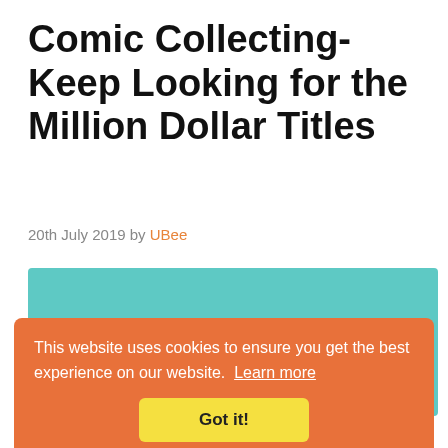Comic Collecting- Keep Looking for the Million Dollar Titles
20th July 2019 by UBee
[Figure (illustration): Teal/turquoise colored box with handwritten-style text 'Comic Collecting - from Batman to ...' partially visible, with a watermark reading 'UBee' in the lower right.]
This website uses cookies to ensure you get the best experience on our website. Learn more
Got it!
Comic collecting has gone through ups and